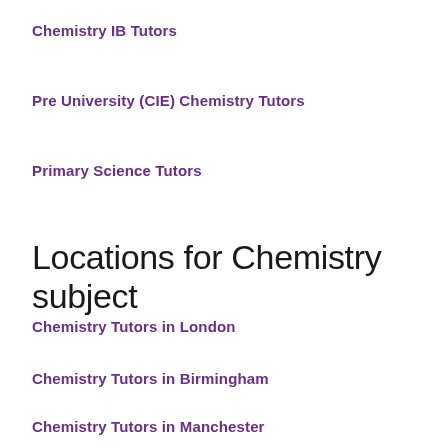Chemistry IB Tutors
Pre University (CIE) Chemistry Tutors
Primary Science Tutors
Locations for Chemistry subject
Chemistry Tutors in London
Chemistry Tutors in Birmingham
Chemistry Tutors in Manchester